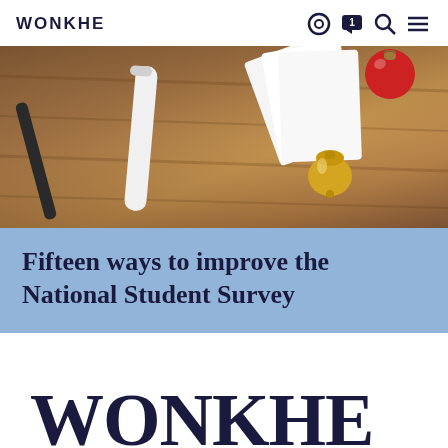WONKHE
[Figure (photo): Close-up photo of a wooden desk surface with a pen, white cylinder/tube, playing cards, a gold bell, and a red ornament]
Fifteen ways to improve the National Student Survey
[Figure (logo): Large WONKHE logo in dark navy serif font at bottom of page]